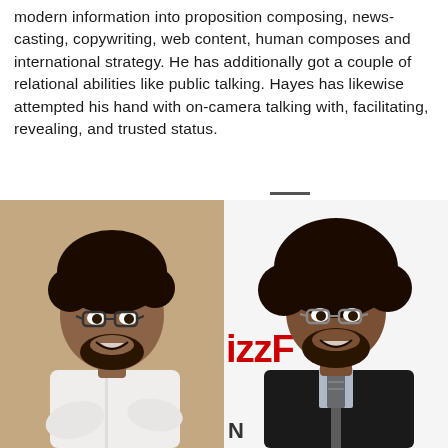modern information into proposition composing, news-casting, copywriting, web content, human composes and international strategy. He has additionally got a couple of relational abilities like public talking. Hayes has likewise attempted his hand with on-camera talking with, facilitating, revealing, and trusted status.
[Figure (photo): Two side-by-side photos of a young man with curly hair, glasses, and a beard. Left photo: studio portrait with tan/beige background, man in white shirt. Right photo: event photo with BuzzFeed backdrop, man in black hoodie with tie and lavender shirt.]